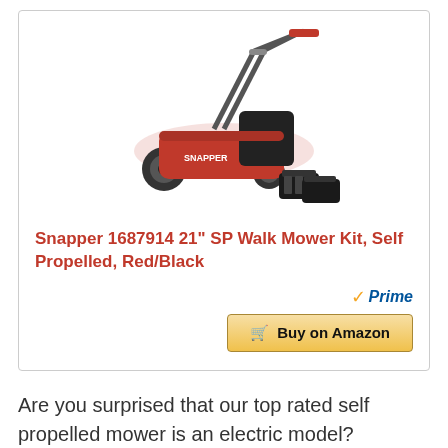[Figure (photo): Red and black Snapper self-propelled electric walk mower with battery packs shown beside it]
Snapper 1687914 21" SP Walk Mower Kit, Self Propelled, Red/Black
[Figure (logo): Amazon Prime badge with checkmark and 'Prime' text, and 'Buy on Amazon' button]
Are you surprised that our top rated self propelled mower is an electric model?
So are we to a certain extent. We absolutely went into this process, having done it multiple times